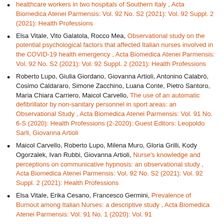healthcare workers in two hospitals of Southern Italy , Acta Biomedica Atenei Parmensis: Vol. 92 No. S2 (2021): Vol. 92 Suppl. 2 (2021): Health Professions
Elsa Vitale, Vito Galatola, Rocco Mea, Observational study on the potential psychological factors that affected Italian nurses involved in the COVID-19 health emergency , Acta Biomedica Atenei Parmensis: Vol. 92 No. S2 (2021): Vol. 92 Suppl. 2 (2021): Health Professions
Roberto Lupo, Giulia Giordano, Giovanna Artioli, Antonino Calabrò, Cosimo Caldararo, Simone Zacchino, Luana Conte, Pietro Santoro, Maria Chiara Carriero, Maicol Carvello, The use of an automatic defibrillator by non-sanitary personnel in sport areas: an Observational Study , Acta Biomedica Atenei Parmensis: Vol. 91 No. 6-S (2020): Health Professions (2-2020): Guest Editors: Leopoldo Sarli, Giovanna Artioli
Maicol Carvello, Roberto Lupo, Milena Muro, Gloria Grilli, Kody Ogorzalek, Ivan Rubbi, Giovanna Artioli, Nurse's knowledge and perceptions on communicative hypnosis: an observational study , Acta Biomedica Atenei Parmensis: Vol. 92 No. S2 (2021): Vol. 92 Suppl. 2 (2021): Health Professions
Elsa Vitale, Erika Cesano, Francesco Germini, Prevalence of Burnout among Italian Nurses: a descriptive study , Acta Biomedica Atenei Parmensis: Vol. 91 No. 1 (2020): Vol. 91...